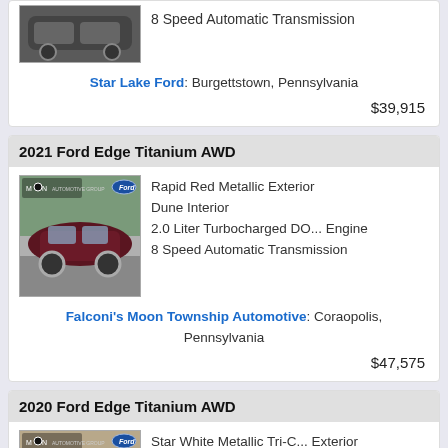[Figure (photo): Partial view of a dark SUV at top of page]
8 Speed Automatic Transmission
Star Lake Ford: Burgettstown, Pennsylvania
$39,915
2021 Ford Edge Titanium AWD
[Figure (photo): Dark red/maroon 2021 Ford Edge SUV with Moon Automotive Group logo]
Rapid Red Metallic Exterior
Dune Interior
2.0 Liter Turbocharged DO... Engine
8 Speed Automatic Transmission
Falconi's Moon Township Automotive: Coraopolis, Pennsylvania
$47,575
2020 Ford Edge Titanium AWD
[Figure (photo): White 2020 Ford Edge SUV with Moon Automotive Group logo]
Star White Metallic Tri-C... Exterior
Ebony Interior
2.0 Liter Turbocharged DO... Engine
8 Speed Automatic Transmission